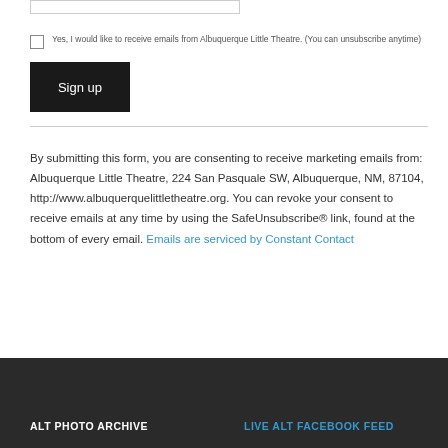Yes, I would like to receive emails from Albuquerque Little Theatre. (You can unsubscribe anytime)
Sign up
By submitting this form, you are consenting to receive marketing emails from: Albuquerque Little Theatre, 224 San Pasquale SW, Albuquerque, NM, 87104, http://www.albuquerquelittletheatre.org. You can revoke your consent to receive emails at any time by using the SafeUnsubscribe® link, found at the bottom of every email. Emails are serviced by Constant Contact
ALT PHOTO ARCHIVE    LIVE ALT FACEBOOK FEED